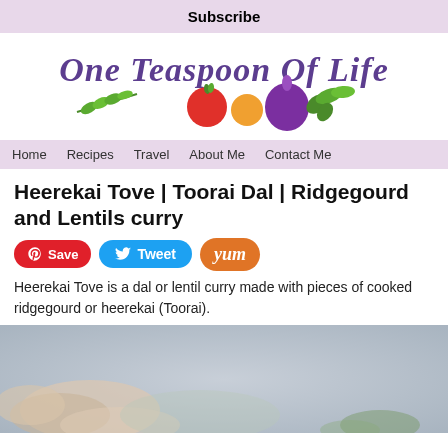Subscribe
[Figure (logo): One Teaspoon Of Life blog logo with stylized script text and vegetable illustrations including leaves, tomato, orange, purple beet, and green leafy vegetable]
Home  Recipes  Travel  About Me  Contact Me
Heerekai Tove | Toorai Dal | Ridgegourd and Lentils curry
[Figure (infographic): Social sharing buttons: Pinterest Save (red), Tweet (blue), Yum (orange)]
Heerekai Tove is a dal or lentil curry made with pieces of cooked ridgegourd or heerekai (Toorai).
[Figure (photo): Partial photo of a food dish, appearing to show lentils or curry with blurred background in grey/blue tones]